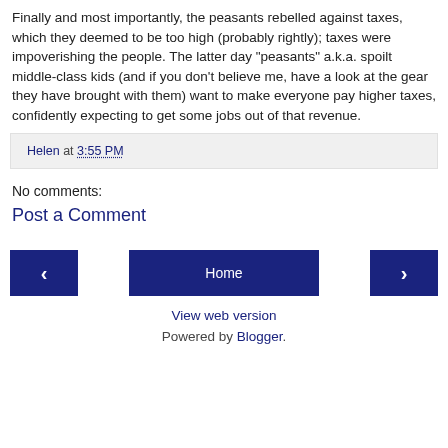Finally and most importantly, the peasants rebelled against taxes, which they deemed to be too high (probably rightly); taxes were impoverishing the people. The latter day "peasants" a.k.a. spoilt middle-class kids (and if you don't believe me, have a look at the gear they have brought with them) want to make everyone pay higher taxes, confidently expecting to get some jobs out of that revenue.
Helen at 3:55 PM
No comments:
Post a Comment
‹
Home
›
View web version
Powered by Blogger.